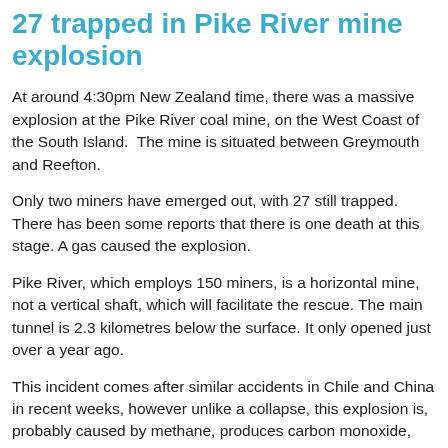27 trapped in Pike River mine explosion
At around 4:30pm New Zealand time, there was a massive explosion at the Pike River coal mine, on the West Coast of the South Island.  The mine is situated between Greymouth and Reefton.
Only two miners have emerged out, with 27 still trapped.  There has been some reports that there is one death at this stage. A gas caused the explosion.
Pike River, which employs 150 miners, is a horizontal mine, not a vertical shaft, which will facilitate the rescue. The main tunnel is 2.3 kilometres below the surface. It only opened just over a year ago.
This incident comes after similar accidents in Chile and China in recent weeks, however unlike a collapse, this explosion is, probably caused by methane, produces carbon monoxide, which is extremely poisonous. As a reader reminded me, this is where the canary in the coal mine